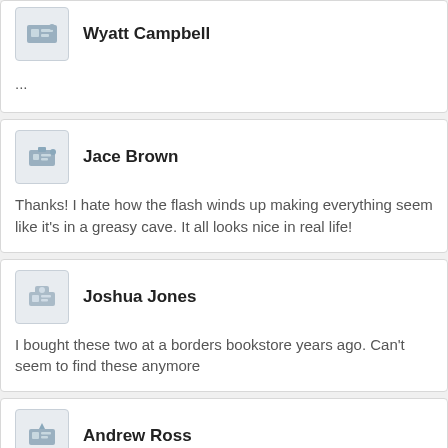Wyatt Campbell
...
Jace Brown
Thanks! I hate how the flash winds up making everything seem like it's in a greasy cave. It all looks nice in real life!
Joshua Jones
I bought these two at a borders bookstore years ago. Can't seem to find these anymore
Andrew Ross
rescue bump
Samuel Flores